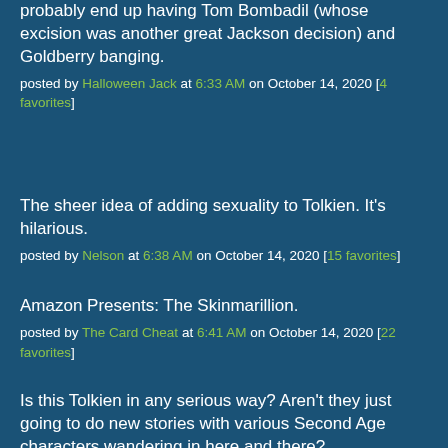probably end up having Tom Bombadil (whose excision was another great Jackson decision) and Goldberry banging.
posted by Halloween Jack at 6:33 AM on October 14, 2020 [4 favorites]
The sheer idea of adding sexuality to Tolkien. It's hilarious.
posted by Nelson at 6:38 AM on October 14, 2020 [15 favorites]
Amazon Presents: The Skinmarillion.
posted by The Card Cheat at 6:41 AM on October 14, 2020 [22 favorites]
Is this Tolkien in any serious way? Aren't they just going to do new stories with various Second Age characters wandering in here and there?
posted by chewed at 6:43 AM on October 14, 2020 [1 favorite]